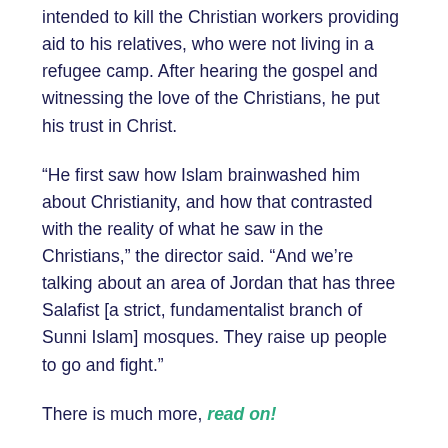intended to kill the Christian workers providing aid to his relatives, who were not living in a refugee camp. After hearing the gospel and witnessing the love of the Christians, he put his trust in Christ.
“He first saw how Islam brainwashed him about Christianity, and how that contrasted with the reality of what he saw in the Christians,” the director said. “And we’re talking about an area of Jordan that has three Salafist [a strict, fundamentalist branch of Sunni Islam] mosques. They raise up people to go and fight.”
There is much more, read on!